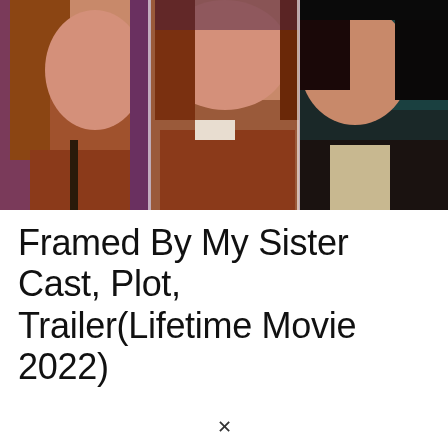[Figure (photo): Movie promotional image showing three panels side by side of women's faces/upper bodies. Left panel: woman with long auburn/brown wavy hair, rust-colored jacket, serious expression, purple background. Center panel: same woman closer up, rust-colored jacket, white detail. Right panel: different woman with dark hair pulled back, light-colored jacket, dark background with teal tones.]
Framed By My Sister Cast, Plot, Trailer(Lifetime Movie 2022)